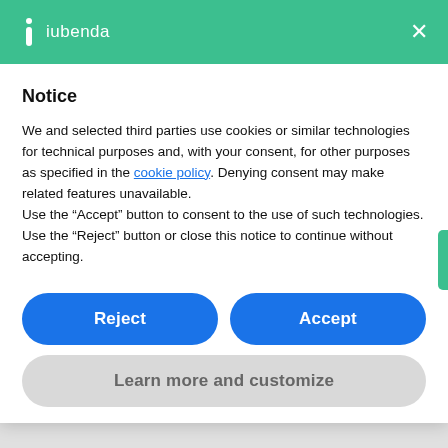iubenda ×
Notice
We and selected third parties use cookies or similar technologies for technical purposes and, with your consent, for other purposes as specified in the cookie policy. Denying consent may make related features unavailable.
Use the "Accept" button to consent to the use of such technologies. Use the "Reject" button or close this notice to continue without accepting.
Reject
Accept
Learn more and customize